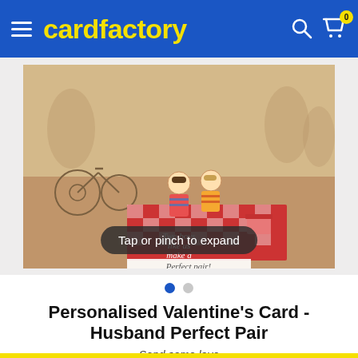cardfactory
[Figure (illustration): A greeting card showing two boys having a picnic on a red checkered blanket with a bicycle nearby, illustrated in a warm beige/brown watercolor style. Text on the card reads 'Two boys like us make a Perfect pair!']
Tap or pinch to expand
Personalised Valentine's Card - Husband Perfect Pair
Send some love
£1.79